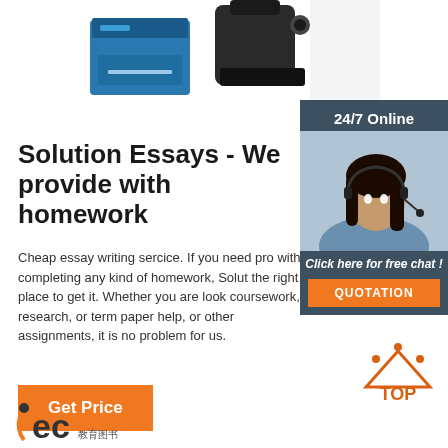[Figure (photo): Photo of blue and black printer/equipment at top of page]
[Figure (photo): Sidebar with dark blue background showing a woman with headset smiling, labeled 24/7 Online with chat button and QUOTATION button]
Solution Essays - We provide with homework
Cheap essay writing sercice. If you need pro with completing any kind of homework, Solut the right place to get it. Whether you are look coursework, research, or term paper help, or other assignments, it is no problem for us.
Get Price
[Figure (logo): TOP icon with orange dots in arc shape above text TOP in orange]
[Figure (logo): ec logo at bottom left]